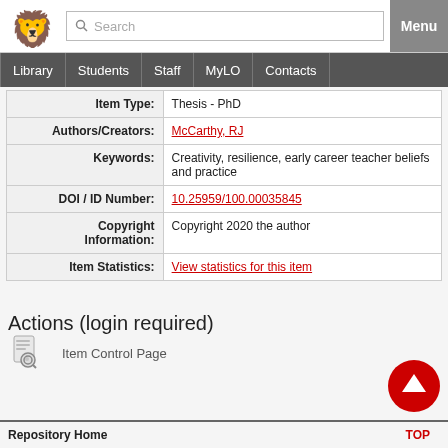Search | Menu | Library | Students | Staff | MyLO | Contacts
| Field | Value |
| --- | --- |
| Item Type: | Thesis - PhD |
| Authors/Creators: | McCarthy, RJ |
| Keywords: | Creativity, resilience, early career teacher beliefs and practice |
| DOI / ID Number: | 10.25959/100.00035845 |
| Copyright Information: | Copyright 2020 the author |
| Item Statistics: | View statistics for this item |
Actions (login required)
Item Control Page
Repository Home | TOP